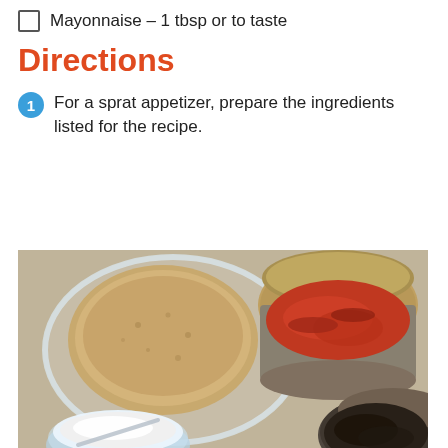Mayonnaise – 1 tbsp or to taste
Directions
1  For a sprat appetizer, prepare the ingredients listed for the recipe.
[Figure (photo): Photo showing ingredients on a table: a loaf of bread in a plastic bag on the left, an open tin can with red sauce/tomatoes (sprats) on the upper right, a round plastic bowl with white cream/mayonnaise on the lower left, and another open tin can with dark contents (sprats in oil) on the lower right.]